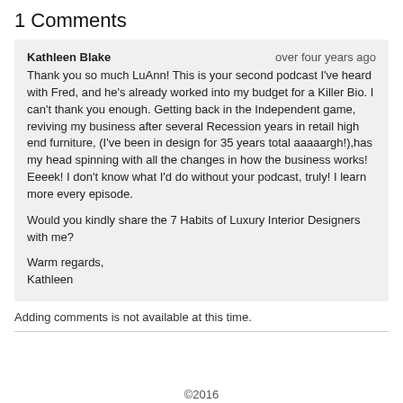1 Comments
Kathleen Blake
over four years ago
Thank you so much LuAnn! This is your second podcast I’ve heard with Fred, and he’s already worked into my budget for a Killer Bio. I can’t thank you enough. Getting back in the Independent game, reviving my business after several Recession years in retail high end furniture, (I’ve been in design for 35 years total aaaaargh!),has my head spinning with all the changes in how the business works! Eeeek! I don’t know what I’d do without your podcast, truly! I learn more every episode.

Would you kindly share the 7 Habits of Luxury Interior Designers with me?

Warm regards,
Kathleen
Adding comments is not available at this time.
©2016